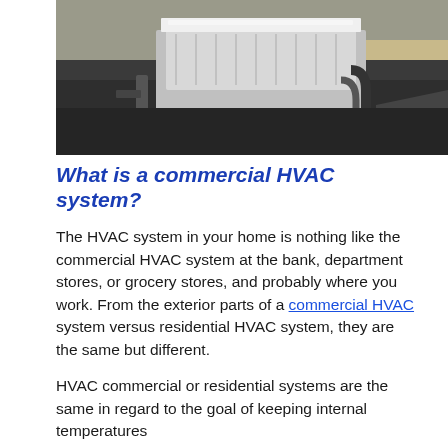[Figure (photo): Aerial/rooftop photograph of a commercial HVAC unit installed on a flat rooftop, with ductwork and equipment visible, building facade in background.]
What is a commercial HVAC system?
The HVAC system in your home is nothing like the commercial HVAC system at the bank, department stores, or grocery stores, and probably where you work. From the exterior parts of a commercial HVAC system versus residential HVAC system, they are the same but different.
HVAC commercial or residential systems are the same in regard to the goal of keeping internal temperatures